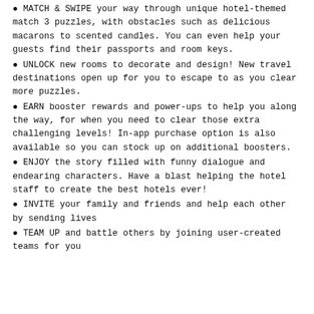MATCH & SWIPE your way through unique hotel-themed match 3 puzzles, with obstacles such as delicious macarons to scented candles. You can even help your guests find their passports and room keys.
UNLOCK new rooms to decorate and design! New travel destinations open up for you to escape to as you clear more puzzles.
EARN booster rewards and power-ups to help you along the way, for when you need to clear those extra challenging levels! In-app purchase option is also available so you can stock up on additional boosters.
ENJOY the story filled with funny dialogue and endearing characters. Have a blast helping the hotel staff to create the best hotels ever!
INVITE your family and friends and help each other by sending lives
TEAM UP and battle others by joining user-created teams for you